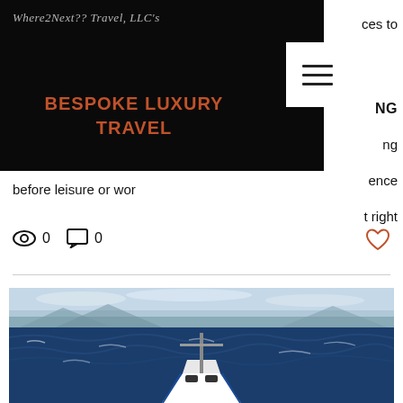Where2Next?? Travel, LLC's
BESPOKE LUXURY TRAVEL
ces to ... NG ... ng ... ence ... t right before leisure or wor
0   0
[Figure (photo): View from the bow of a cruise ship sailing through rough dark blue ocean waters with mountains visible on the horizon under a partly cloudy sky]